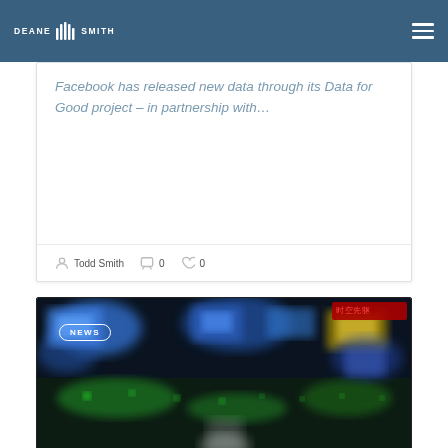PANDEMIC
[Figure (logo): Deane Smith logo with audio bars between the two words]
Facebook has released new data through its Data for Good project – in partnership with...
Todd Smith  0  0
[Figure (photo): Blurry TV broadcast studio control room with multiple screens glowing in blue, red, yellow, green tones. NEWS badge overlaid in top-left corner. Red digital display in top-right corner.]